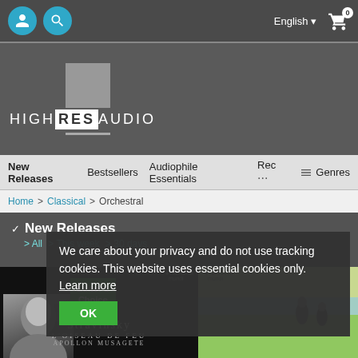English  [cart: 0]
[Figure (logo): HighResAudio logo with grey square graphic and text HIGH RES AUDIO]
New Releases   Bestsellers   Audiophile Essentials   Rec ...   ≡ Genres
Home > Classical > Orchestral
✓ New Releases
> All > This week > 30 days
We care about your privacy and do not use tracking cookies. This website uses essential cookies only.  Learn more
OK
[Figure (photo): Album cover: Stravinsky L'Oiseau de Feu / Apollon Musagete with Editor's Choice badge, harmonia mundi label, man portrait photo]
[Figure (photo): Album cover: harmonia mundi release showing people on grass with light blue promo band]